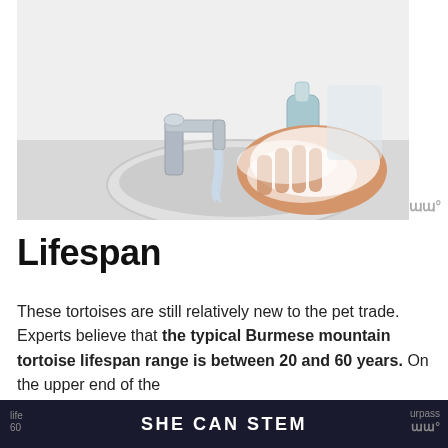[Figure (photo): A person washing their hands with soap and water at a chrome bathroom faucet over a round white sink, with a blue soap dispenser in the background.]
Lifespan
These tortoises are still relatively new to the pet trade. Experts believe that the typical Burmese mountain tortoise lifespan range is between 20 and 60 years. On the upper end of the life...urpass 60...
SHE CAN STEM